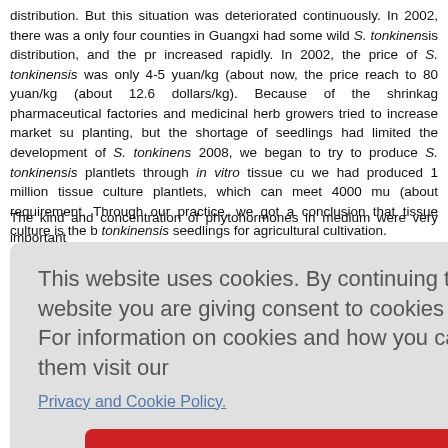distribution. But this situation was deteriorated continuously. In 2002, there was a only four counties in Guangxi had some wild S. tonkinensis distribution, and the pr increased rapidly. In 2002, the price of S. tonkinensis was only 4-5 yuan/kg (about now, the price reach to 80 yuan/kg (about 12.6 dollars/kg). Because of the shrinkag pharmaceutical factories and medicinal herb growers tried to increase market su planting, but the shortage of seedlings had limited the development of S. tonkinens 2008, we began to try to produce S. tonkinensis plantlets through in vitro tissue cu we had produced 1 million tissue culture plantlets, which can meet 4000 mu (about requirement. Through our practice, we got a conclusion that tissue culture is the b tonkinensis seedlings for agricultural cultivation.
The kind and concentration of phytohormones in medium were very important ?, KT, and irtant plant e on. [18] KT promote pla ment, and is as tropism n our resea ation was a f the conce that the be ng/l IAA, a further screening.
[Figure (screenshot): Cookie consent overlay dialog with text 'This website uses cookies. By continuing to use this website you are giving consent to cookies being used. For information on cookies and how you can disable them visit our Privacy and Cookie Policy.' and a red 'AGREE & PROCEED' button.]